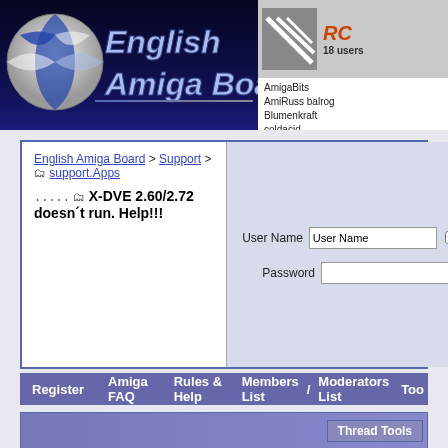English Amiga Board — IRC: 18 users — AmigaBits, AmiRuss balrog, Blumenkraft, coldacid, geheimnis^, j0rd...
English Amiga Board > Support > support.Apps
...  X-DVE 2.60/2.72 doesn´t run. Help!!!
User Name | Password | Remember Me? | Log in
Register   Amiga FAQ   Rules & Help   Members List / Moderators List   Too
Thread Tools
30 October 2010, 21:34   #1
gulliver
BoingBagged
X-DVE 2.60/2.72 doesn´t run. Help!!!
I have ulpoaded to The Zone! a long aparently lost version of an excellent Amiga video...